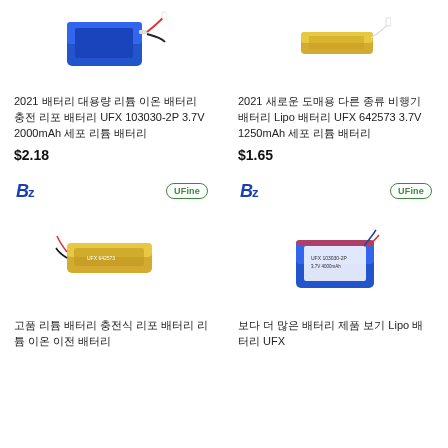[Figure (photo): Blue rectangular LiPo battery with red and black wires]
[Figure (photo): Gold/yellow slim LiPo battery with connector wire]
2021 배터리 대용량 리튬 이온 배터리 충전 리포 배터리 UFX 103030-2P 3.7V 2000mAh 세포 리튬 배터리
2021 새로운 도매용 다른 종류 비행기 배터리 Lipo 배터리 UFX 642573 3.7V 1250mAh 세포 리튬 배터리
$2.18
$1.65
[Figure (logo): Bz brand logo in blue bold italic]
[Figure (logo): UFine brand logo in green oval border]
[Figure (logo): Bz brand logo in blue bold italic]
[Figure (logo): UFine brand logo in green oval border]
[Figure (photo): Slim elongated gold LiPo battery with wires]
[Figure (photo): Blue rectangular LiPo battery pack with label]
고품 리튬 배터리 충전식 리포 배터리 리튬 이온 이전 배터리
보다 더 많은 배터리 제품 보기 Lipo 배터리 UFX